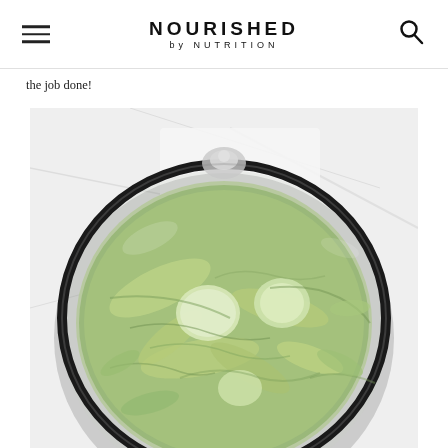NOURISHED by NUTRITION
the job done!
[Figure (photo): Overhead view of shredded Brussels sprouts in a large glass food processor bowl on a marble surface with a white cloth]